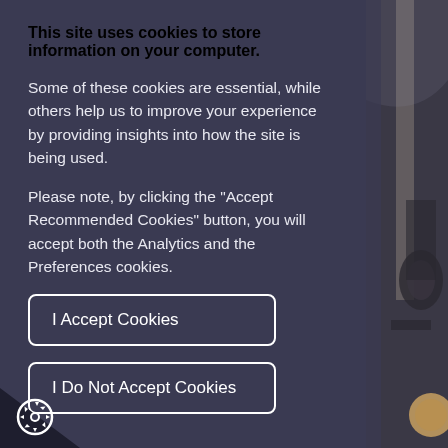This site uses cookies to store information on your computer.
Some of these cookies are essential, while others help us to improve your experience by providing insights into how the site is being used.
Please note, by clicking the "Accept Recommended Cookies" button, you will accept both the Analytics and the Preferences cookies.
I Accept Cookies
I Do Not Accept Cookies
[Figure (photo): Partial view of a museum or historic building interior with machinery/sculpture visible on the right side of the page]